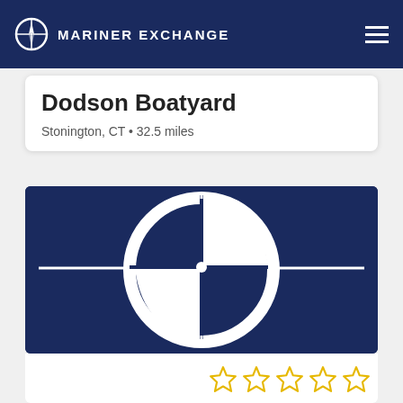MARINER EXCHANGE
Dodson Boatyard
Stonington, CT • 32.5 miles
[Figure (logo): Mariner Exchange compass rose logo — large version on dark navy background, white compass rose with circle and arrow/needle design]
★★★★★ (empty stars rating)